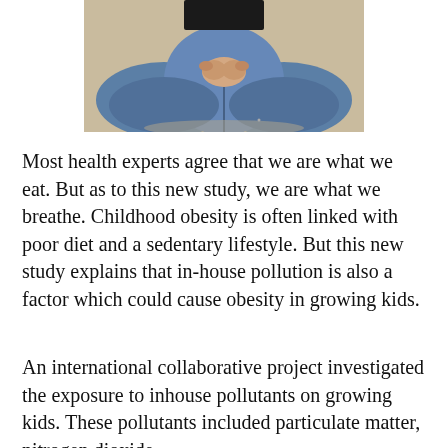[Figure (photo): Photo of a child sitting cross-legged on a beige floor, wearing blue jeans, with hands clasped together, torso and lower body visible from waist down.]
Most health experts agree that we are what we eat. But as to this new study, we are what we breathe. Childhood obesity is often linked with poor diet and a sedentary lifestyle. But this new study explains that in-house pollution is also a factor which could cause obesity in growing kids.
An international collaborative project investigated the exposure to inhouse pollutants on growing kids. These pollutants included particulate matter, nitrogen dioxide